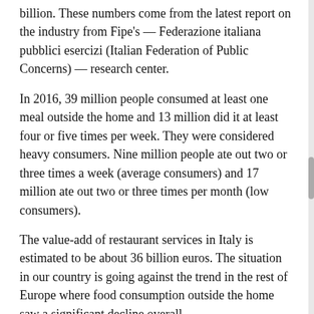billion. These numbers come from the latest report on the industry from Fipe's — Federazione italiana pubblici esercizi (Italian Federation of Public Concerns) — research center.
In 2016, 39 million people consumed at least one meal outside the home and 13 million did it at least four or five times per week. They were considered heavy consumers. Nine million people ate out two or three times a week (average consumers) and 17 million ate out two or three times per month (low consumers).
The value-add of restaurant services in Italy is estimated to be about 36 billion euros. The situation in our country is going against the trend in the rest of Europe where food consumption outside the home saw a significant decline overall.
"The data from 2016 to come out of the report confirm a comeback in terms of food consumption outside the home and the central role work plays in the industry, as evidenced by the great increase in employment," says Lino Enrico Stoppani, president of Fipe.